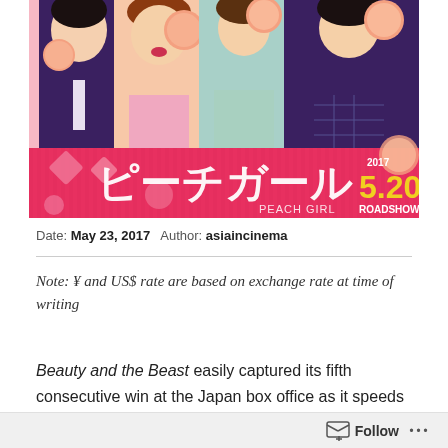[Figure (photo): Movie poster for Peach Girl (ピーチガール), a Japanese film. Four young actors in school uniforms holding peaches against a pink background. Japanese title text ピーチガール and subtitle PEACH GIRL shown. Release date 2017 5.20 ROADSHOW displayed in yellow/gold.]
Date: May 23, 2017  Author: asiaincinema
Note: ¥ and US$ rate are based on exchange rate at time of writing
Beauty and the Beast easily captured its fifth consecutive win at the Japan box office as it speeds